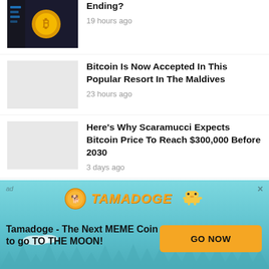Ending?
19 hours ago
Bitcoin Is Now Accepted In This Popular Resort In The Maldives
23 hours ago
Here's Why Scaramucci Expects Bitcoin Price To Reach $300,000 Before 2030
3 days ago
Liquidations Cross $280 Million After Bitcoin Price Falls Below $25,000
3 days ago
[Figure (infographic): Tamadoge advertisement banner with teal/sky background, logo with coin and dog mascot, tagline 'Tamadoge - The Next MEME Coin to go TO THE MOON!' and a yellow GO NOW button]